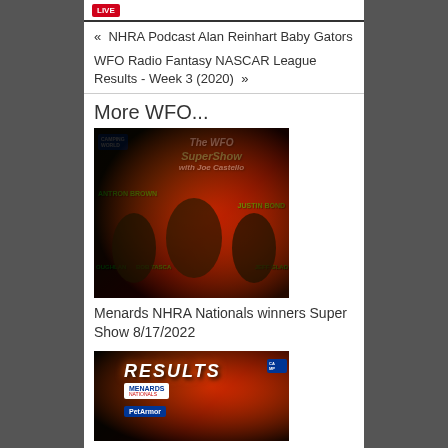LIVE
« NHRA Podcast Alan Reinhart Baby Gators
WFO Radio Fantasy NASCAR League Results - Week 3 (2020) »
More WFO...
[Figure (photo): The WFO SuperShow with Joe Castello - promotional image showing NHRA racers including Antron Brown, Justin Bond, Duggan, Bob Tasca, Jeff Glad, with Camping World logo and fiery background]
Menards NHRA Nationals winners Super Show 8/17/2022
[Figure (photo): WFO Radio results image with RESULTS text, Menards Nationals logo, PetArmor logo, and Camping World logo on fiery background]